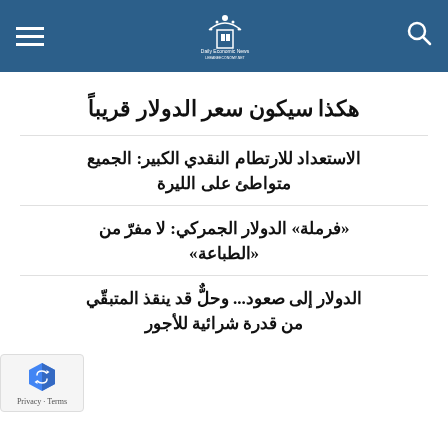Daily Economic News
هكذا سيكون سعر الدولار قريباً
الاستعداد للارتطام النقدي الكبير: الجميع متواطئ على الليرة
«فرملة» الدولار الجمركي: لا مفرّ من «الطباعة»
الدولار إلى صعود... وحلٌّ قد ينقذ المتبقّي من قدرة شرائية للأجور